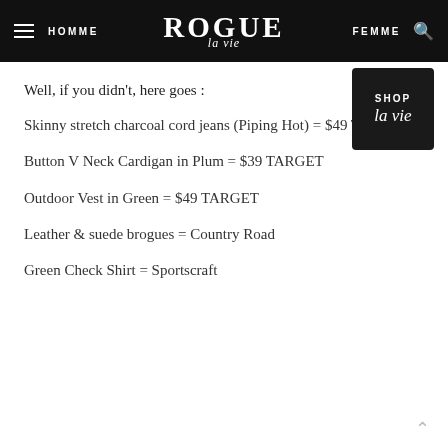HOMME | ROGUE la vie | FEMME
[Figure (logo): Shop la vie badge — dark square badge with 'SHOP' in caps and 'la vie' in cursive script below]
Well, if you didn't, here goes :
Skinny stretch charcoal cord jeans (Piping Hot) = $49 TARGET
Button V Neck Cardigan in Plum = $39 TARGET
Outdoor Vest in Green = $49 TARGET
Leather & suede brogues = Country Road
Green Check Shirt =  Sportscraft